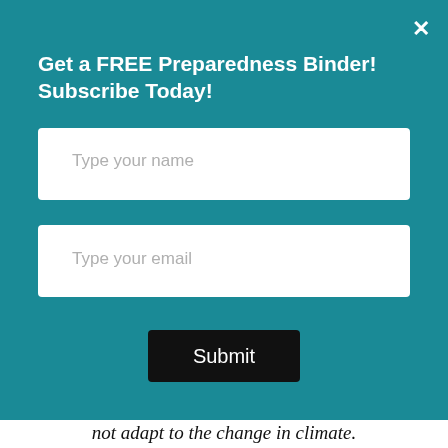Get a FREE Preparedness Binder! Subscribe Today!
[Figure (screenshot): Email subscription form with 'Type your name' and 'Type your email' input fields, a Submit button, all on a teal background with a close (×) button]
not adapt to the change in climate.
Promoted  ×
[Figure (photo): Thumbnail of a sunset/cloudy sky with a video play button overlay]
[Figure (photo): Three dental implant images side by side]
Everyone Who Believes In God Should Watch This. It Will Blow Your Mind
🔥 24,702
Think Dental Implants Are Expensive? Think Again (See Prices)
🔥 16,659